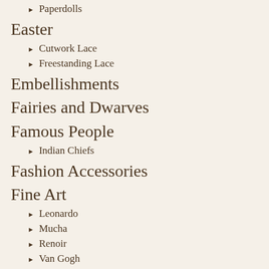Paperdolls
Easter
Cutwork Lace
Freestanding Lace
Embellishments
Fairies and Dwarves
Famous People
Indian Chiefs
Fashion Accessories
Fine Art
Leonardo
Mucha
Renoir
Van Gogh
Floral
Decorative Motifs
Flowers
Foliage
For Framing
Fruits
Geranium